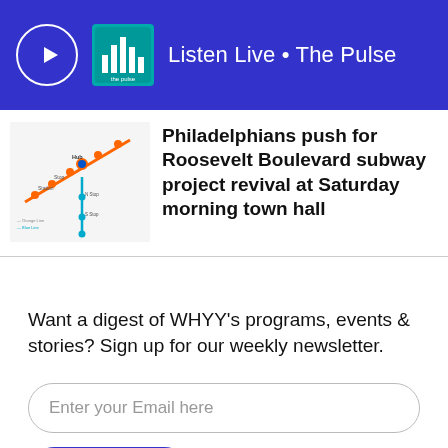Listen Live • The Pulse
Philadelphians push for Roosevelt Boulevard subway project revival at Saturday morning town hall
[Figure (map): Transit map showing route lines including an orange diagonal line and a blue vertical line with station stops labeled]
Want a digest of WHYY's programs, events & stories? Sign up for our weekly newsletter.